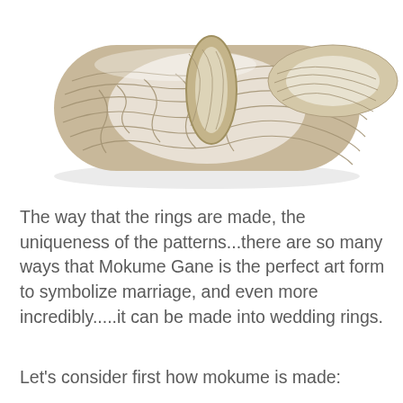[Figure (photo): Two Mokume Gane wedding rings with distinctive wood-grain metallic patterns in gold and silver tones, one stacked inside the other, photographed on a white background.]
The way that the rings are made, the uniqueness of the patterns...there are so many ways that Mokume Gane is the perfect art form to symbolize marriage, and even more incredibly.....it can be made into wedding rings.
Let's consider first how mokume is made: